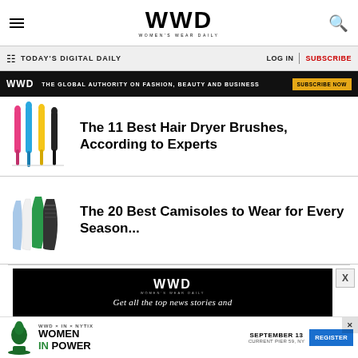WWD — Women's Wear Daily
TODAY'S DIGITAL DAILY    LOG IN    SUBSCRIBE
[Figure (screenshot): WWD ad banner: THE GLOBAL AUTHORITY ON FASHION, BEAUTY AND BUSINESS — SUBSCRIBE NOW]
The 11 Best Hair Dryer Brushes, According to Experts
The 20 Best Camisoles to Wear for Every Season...
[Figure (screenshot): WWD subscription promo: Get all the top news stories and...]
[Figure (screenshot): WWD x IN x events: WOMEN IN POWER — SEPTEMBER 13, CURRENT PIER 59, NY — REGISTER]